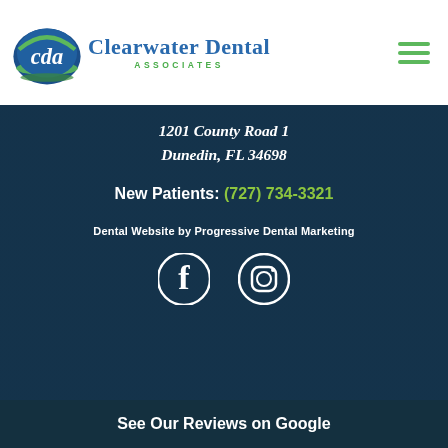[Figure (logo): CDA (Clearwater Dental Associates) logo with green and blue oval badge and brand name text]
1201 County Road 1
Dunedin, FL 34698
New Patients: (727) 734-3321
Dental Website by Progressive Dental Marketing
[Figure (illustration): Facebook and Instagram social media icons in white]
See Our Reviews on Google